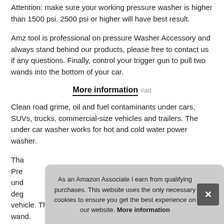Attention: make sure your working pressure washer is higher than 1500 psi. 2500 psi or higher will have best result.
Amz tool is professional on pressure Washer Accessory and always stand behind our products, please free to contact us if any questions. Finally, control your trigger gun to pull two wands into the bottom of your car.
More information #ad
Clean road grime, oil and fuel contaminants under cars, SUVs, trucks, commercial-size vehicles and trailers. The under car washer works for hot and cold water power washer.
Tha Pres und deg vehicle. Than quick connect angled wand to the straight wand.
As an Amazon Associate I earn from qualifying purchases. This website uses the only necessary cookies to ensure you get the best experience on our website. More information